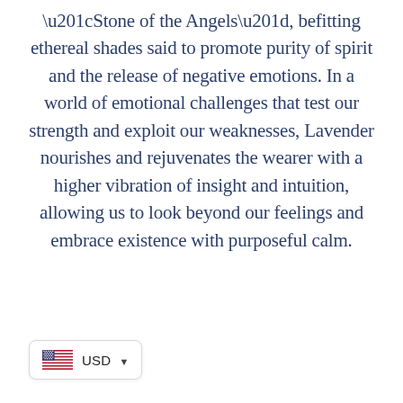“Stone of the Angels”, befitting ethereal shades said to promote purity of spirit and the release of negative emotions. In a world of emotional challenges that test our strength and exploit our weaknesses, Lavender nourishes and rejuvenates the wearer with a higher vibration of insight and intuition, allowing us to look beyond our feelings and embrace existence with purposeful calm.
[Figure (other): Currency selector widget showing a US flag icon and the text USD with a dropdown arrow]